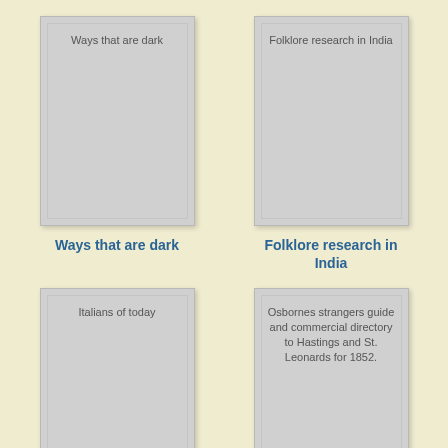[Figure (illustration): Book cover placeholder for 'Ways that are dark']
Ways that are dark
[Figure (illustration): Book cover placeholder for 'Folklore research in India']
Folklore research in India
[Figure (illustration): Book cover placeholder for 'Italians of today']
[Figure (illustration): Book cover placeholder for 'Osbornes strangers guide and commercial directory to Hastings and St. Leonards for 1852.']